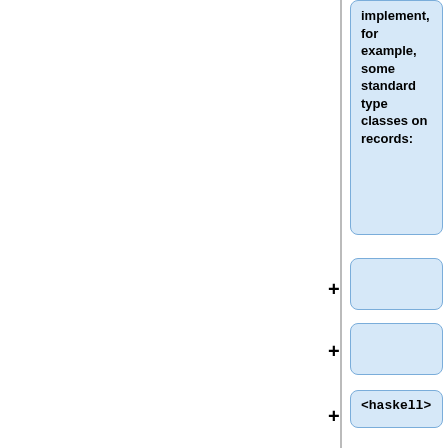implement, for example, some standard type classes on records:
+ (empty box 1)
+ (empty box 2)
+ <haskell>
+ instance (Forall r Show) => Show (Rec r) where
+ show r = "{ " ++ meat ++ " }"
+ where meat = intercalate ", " binds
+ binds =